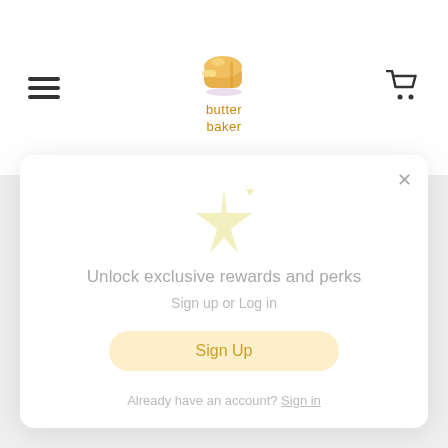[Figure (logo): Butter Baker logo with bread loaf icon and orange text 'butter baker']
Unlock exclusive rewards and perks
Sign up or Log in
Sign Up
Already have an account? Sign in